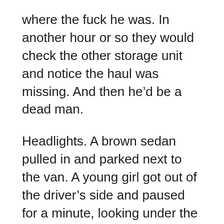where the fuck he was. In another hour or so they would check the other storage unit and notice the haul was missing. And then he'd be a dead man.
Headlights. A brown sedan pulled in and parked next to the van. A young girl got out of the driver's side and paused for a minute, looking under the door, and then walked around to the van and drove it forward. Rick watched as she set the kid's body in with the boxes, rolled the door down, and then took off in the van. He ran as fast as he could to the sedan. The keys were in the ignition and he pulled out of